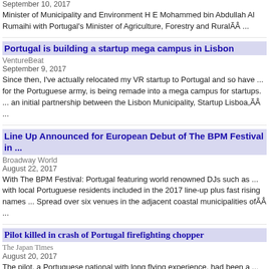September 10, 2017
Minister of Municipality and Environment H E Mohammed bin Abdullah Al Rumaihi with Portugal's Minister of Agriculture, Forestry and RuralÃÂ ...
Portugal is building a startup mega campus in Lisbon
VentureBeat
September 9, 2017
Since then, I've actually relocated my VR startup to Portugal and so have ... for the Portuguese army, is being remade into a mega campus for startups. ... an initial partnership between the Lisbon Municipality, Startup Lisboa,ÃÂ ...
Line Up Announced for European Debut of The BPM Festival in ...
Broadway World
August 22, 2017
With The BPM Festival: Portugal featuring world renowned DJs such as ... with local Portuguese residents included in the 2017 line-up plus fast rising names ... Spread over six venues in the adjacent coastal municipalities ofÃÂ ...
Pilot killed in crash of Portugal firefighting chopper
The Japan Times
August 20, 2017
The pilot, a Portuguese national with long flying experience, had been a ... toward Cabril, a village in the northern Castro Daire municipality.